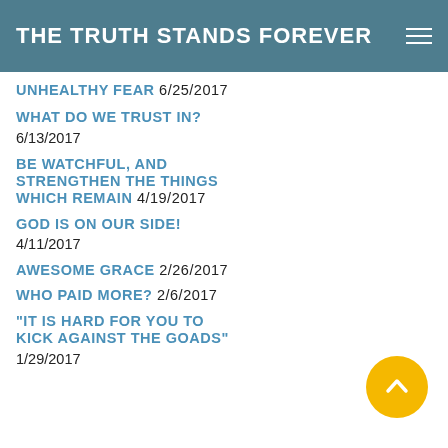THE TRUTH STANDS FOREVER
UNHEALTHY FEAR 6/25/2017
WHAT DO WE TRUST IN?
6/13/2017
BE WATCHFUL, AND STRENGTHEN THE THINGS WHICH REMAIN 4/19/2017
GOD IS ON OUR SIDE!
4/11/2017
AWESOME GRACE 2/26/2017
WHO PAID MORE? 2/6/2017
"IT IS HARD FOR YOU TO KICK AGAINST THE GOADS"
1/29/2017
[Figure (illustration): Yellow circular back-to-top button with upward chevron arrow]